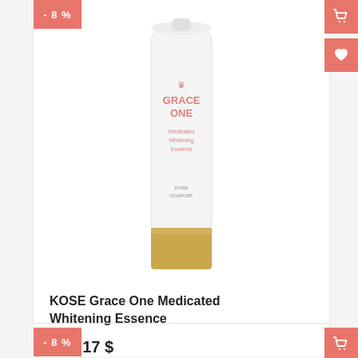[Figure (other): Discount badge showing -8% in salmon/coral color, top left of product card]
[Figure (photo): KOSE Grace One Medicated Whitening Essence tube product photo - white tube with pink branding and gold cap]
KOSE Grace One Medicated Whitening Essence
18 $  17 $
[Figure (other): Second discount badge showing -8% at the bottom of the page]